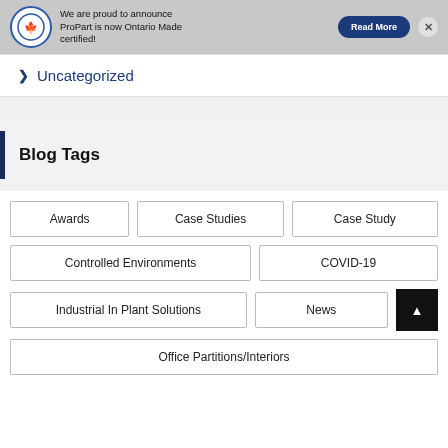[Figure (screenshot): Ontario Made certified banner with logo, announcement text, Read More button, and close (X) button]
Uncategorized
Blog Tags
Awards
Case Studies
Case Study
Controlled Environments
COVID-19
Industrial In Plant Solutions
News
Office Partitions/Interiors